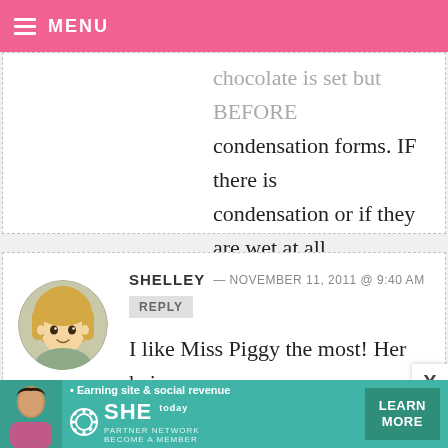MENU
chocolate is set but BEFORE condensation forms. IF there is condensation or if they are wet at all, they won't write. Good luck!
SHELLEY — NOVEMBER 11, 2011 @ 9:40 AM REPLY
I like Miss Piggy the most! Her hair was made well and her nose came out nicely lol. NIce job! (:
[Figure (illustration): Circular avatar of an anime-style character with blonde hair]
[Figure (screenshot): SHE Partner Network advertisement banner — Earning site & social revenue. LEARN MORE button.]